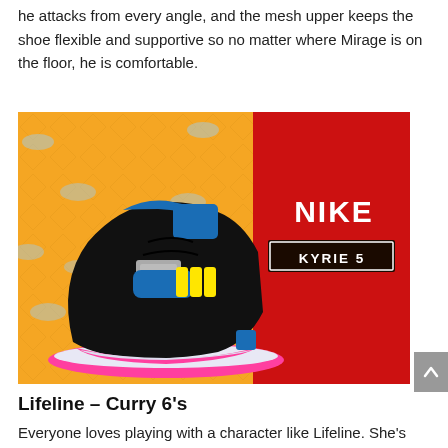he attacks from every angle, and the mesh upper keeps the shoe flexible and supportive so no matter where Mirage is on the floor, he is comfortable.
[Figure (photo): Nike Kyrie 5 basketball shoe shown in black with pink sole, blue and yellow accents. Left half of image has orange/yellow patterned background with small shoe graphics repeated. Right half has red background with white bold text 'NIKE' and a dark banner reading 'KYRIE 5' in white text.]
Lifeline – Curry 6's
Everyone loves playing with a character like Lifeline. She's the ultimate teammate. She makes the right pass almost every time, and the crowd goes crazy with at the...